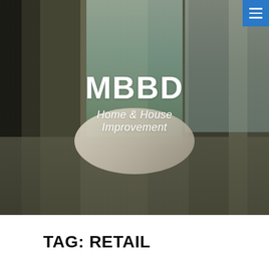[Figure (photo): Hero banner photo of a kitchen/dining room interior with a round table and chairs, windows showing a water and hillside view. Dark overlay applied. 'MBBD' title and 'Home & House Improvement' subtitle overlaid in white text. Blue hamburger menu icon in top-right corner.]
MBBD
Home & House Improvement
TAG: RETAIL